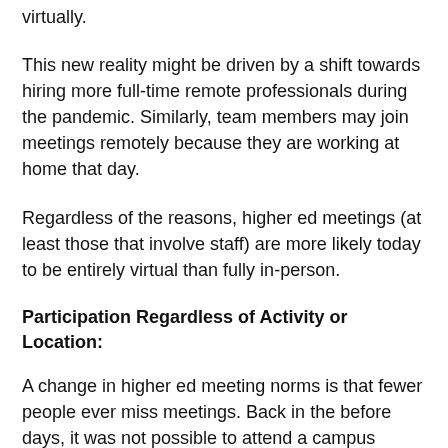virtually.
This new reality might be driven by a shift towards hiring more full-time remote professionals during the pandemic. Similarly, team members may join meetings remotely because they are working at home that day.
Regardless of the reasons, higher ed meetings (at least those that involve staff) are more likely today to be entirely virtual than fully in-person.
Participation Regardless of Activity or Location:
A change in higher ed meeting norms is that fewer people ever miss meetings. Back in the before days, it was not possible to attend a campus meeting if you were traveling for work or home with a sick kid.
Nowadays, colleagues Zoom into meetings from the sidelines of soccer games and the parking lots of dental offices.
We can make it to more meetings from more places. This newfound